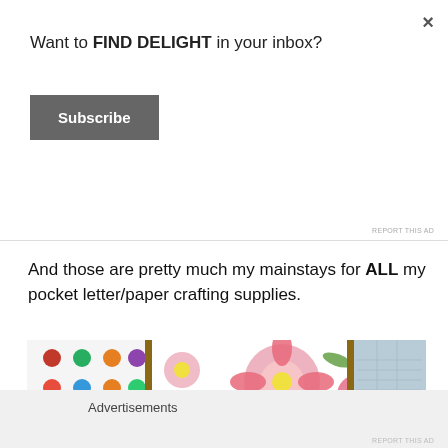Want to FIND DELIGHT in your inbox?
Subscribe
REPORT THIS AD
And those are pretty much my mainstays for ALL my pocket letter/paper crafting supplies.
[Figure (photo): Photo of a wooden pocket letter organizer/holder with colorful patterned paper cards including polka dots, floral patterns, triangles, and a card labeled 'A WONDERFUL LIL TRIP'. A clothespin clip is visible holding cards together.]
Advertisements
REPORT THIS AD